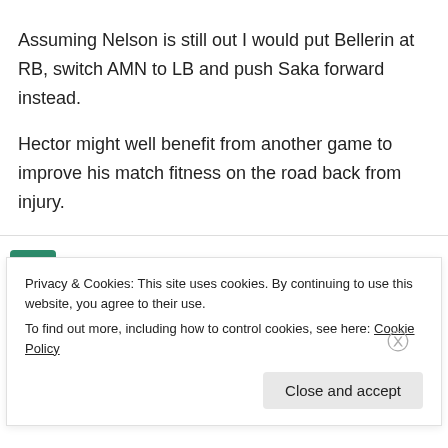Assuming Nelson is still out I would put Bellerin at RB, switch AMN to LB and push Saka forward instead.

Hector might well benefit from another game to improve his match fitness on the road back from injury.
RockyLives on January 26, 2020 at 2:20 pm
Fred
Privacy & Cookies: This site uses cookies. By continuing to use this website, you agree to their use.
To find out more, including how to control cookies, see here: Cookie Policy